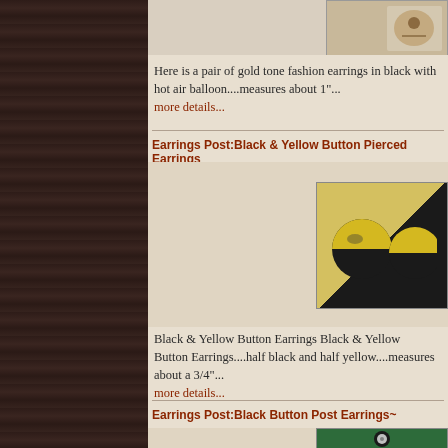[Figure (photo): Top right corner photo of gold tone fashion earring on beige background]
Here is a pair of gold tone fashion earrings in black with hot air balloon....measures about 1"...
more details...
Earrings Post:Black & Yellow Button Pierced Earrings
[Figure (photo): Black and yellow button pierced earrings - round spherical earrings half black and half yellow]
Black & Yellow Button Earrings Black & Yellow Button Earrings....half black and half yellow....measures about a 3/4"...
more details...
Earrings Post:Black Button Post Earrings~
[Figure (photo): Black button post earrings on green background]